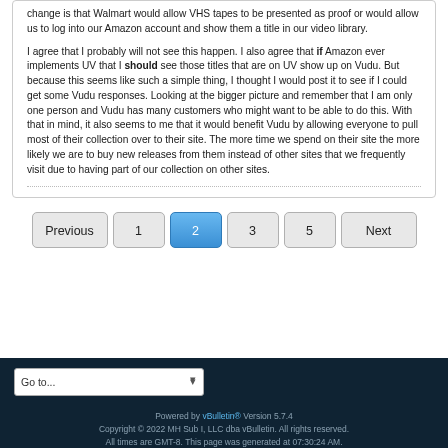change is that Walmart would allow VHS tapes to be presented as proof or would allow us to log into our Amazon account and show them a title in our video library.

I agree that I probably will not see this happen. I also agree that if Amazon ever implements UV that I should see those titles that are on UV show up on Vudu. But because this seems like such a simple thing, I thought I would post it to see if I could get some Vudu responses. Looking at the bigger picture and remember that I am only one person and Vudu has many customers who might want to be able to do this. With that in mind, it also seems to me that it would benefit Vudu by allowing everyone to pull most of their collection over to their site. The more time we spend on their site the more likely we are to buy new releases from them instead of other sites that we frequently visit due to having part of our collection on other sites.
Previous 1 2 3 5 Next
Go to...
Powered by vBulletin® Version 5.7.4
Copyright © 2022 MH Sub I, LLC dba vBulletin. All rights reserved.
All times are GMT-8. This page was generated at 07:30:24 AM.